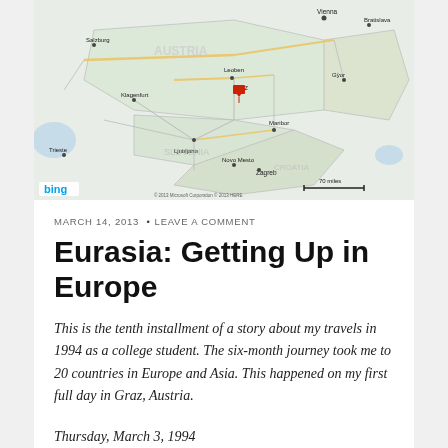[Figure (map): Bing map showing Austria and surrounding regions (Slovenia, Hungary, parts of Italy and Croatia). A red marker pin is placed at Graz, Austria. City names visible include Graz, Vienna, Bratislava, Salzburg, Klagenfurt, Ljubljana, Zagreb, Maribor, Trieste, and others. Map includes scale bar showing 70 miles and Bing logo.]
MARCH 14, 2013  • LEAVE A COMMENT
Eurasia: Getting Up in Europe
This is the tenth installment of a story about my travels in 1994 as a college student. The six-month journey took me to 20 countries in Europe and Asia. This happened on my first full day in Graz, Austria.
Thursday, March 3, 1994